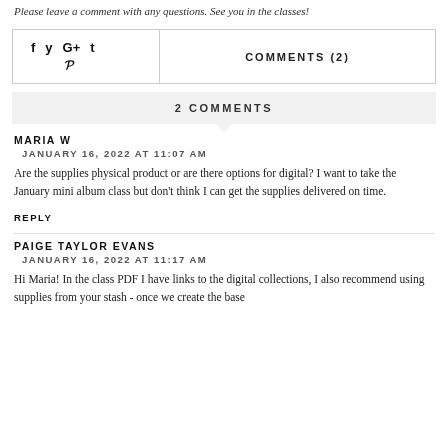Please leave a comment with any questions. See you in the classes!
f  y  G+  t  p   COMMENTS (2)
2 COMMENTS
MARIA W
JANUARY 16, 2022 AT 11:07 AM
Are the supplies physical product or are there options for digital? I want to take the January mini album class but don't think I can get the supplies delivered on time.
REPLY
PAIGE TAYLOR EVANS
JANUARY 16, 2022 AT 11:17 AM
Hi Maria! In the class PDF I have links to the digital collections, I also recommend using supplies from your stash - once we create the base